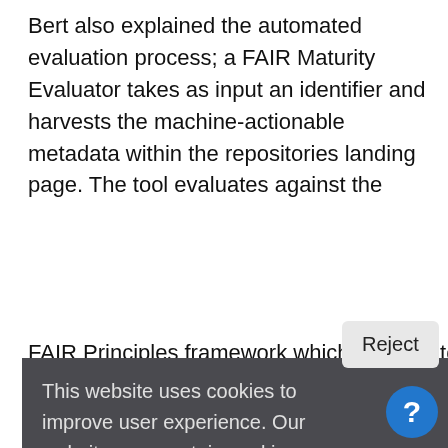Bert also explained the automated evaluation process; a FAIR Maturity Evaluator takes as input an identifier and harvests the machine-actionable metadata within the repositories landing page. The tool evaluates against the FAIR Principles framework which updates to FAIR
[Figure (screenshot): Cookie consent overlay popup with dark gray background reading: 'This website uses cookies to improve user experience. Our website may contain cookies from third parties. By continuing using this site, you accept cookies. Learn more' with Reject and OK buttons, and a blue circular help button with question mark in bottom right corner.]